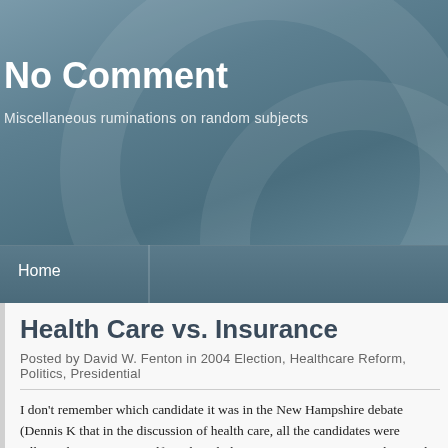No Comment
Miscellaneous ruminations on random subjects
Home
Health Care vs. Insurance
Posted by David W. Fenton in 2004 Election, Healthcare Reform, Politics, Presidential
I don't remember which candidate it was in the New Hampshire debate (Dennis K that in the discussion of health care, all the candidates were talking about insuran itself, as though the two are synonymous. In the South Carolina debate, this beca everyone was talking about providing insurance to everyone, and many talked ab prescription drugs. But no one was talking about the 800-pound gorilla in the roc (and their lobbyists), whose lap dog, Lieberman, was right there on stage. Kucini single-payer plan would take the profit making out of the payment system, which addressing the problem. But he didn't draw out the conclusion that part of the pro